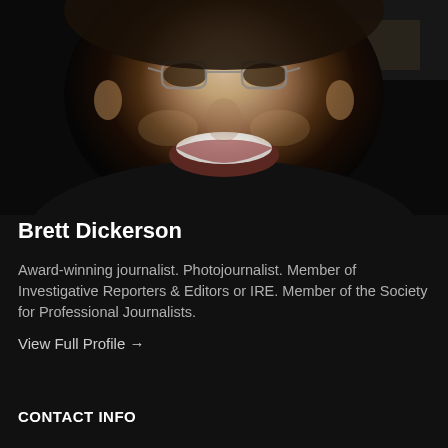[Figure (photo): Close-up selfie photo of a smiling middle-aged man wearing glasses and a black shirt, dark background]
Brett Dickerson
Award-winning journalist. Photojournalist. Member of Investigative Reporters & Editors or IRE. Member of the Society for Professional Journalists.
View Full Profile →
CONTACT INFO
Oklahoma City, Oklahoma